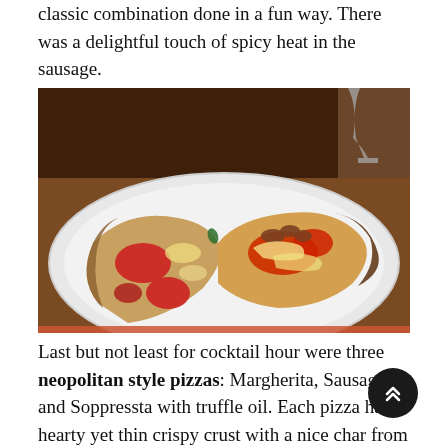classic combination done in a fun way. There was a delightful touch of spicy heat in the sausage.
[Figure (photo): A white plate with two slices of Neapolitan-style pizza. One slice has tomato sauce, red toppings (possibly salami/soppresata), and melted cheese. The other slice has sausage and tomato sauce. A wine glass is partially visible in the background.]
Last but not least for cocktail hour were three neopolitan style pizzas: Margherita, Sausage and Soppressta with truffle oil. Each pizza had a hearty yet thin crispy crust with a nice char from